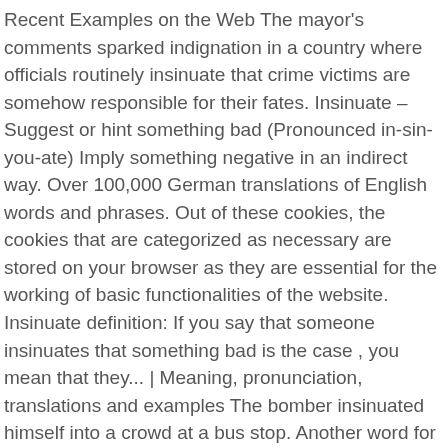Recent Examples on the Web The mayor's comments sparked indignation in a country where officials routinely insinuate that crime victims are somehow responsible for their fates. Insinuate – Suggest or hint something bad (Pronounced in-sin-you-ate) Imply something negative in an indirect way. Over 100,000 German translations of English words and phrases. Out of these cookies, the cookies that are categorized as necessary are stored on your browser as they are essential for the working of basic functionalities of the website. Insinuate definition: If you say that someone insinuates that something bad is the case , you mean that they... | Meaning, pronunciation, translations and examples The bomber insinuated himself into a crowd at a bus stop. Another word for insinuated. You can also find multiple synonyms or similar